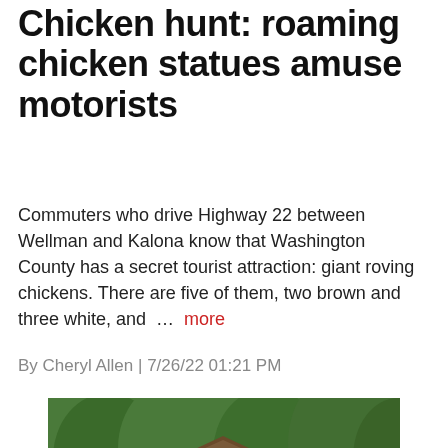Chicken hunt: roaming chicken statues amuse motorists
Commuters who drive Highway 22 between Wellman and Kalona know that Washington County has a secret tourist attraction: giant roving chickens. There are five of them, two brown and three white, and … more
By Cheryl Allen | 7/26/22 01:21 PM
[Figure (photo): Outdoor photo of a brown cabin or pavilion structure with a thatched/shingled roof surrounded by trees with green foliage. People are seated in lawn chairs in the foreground watching what appears to be an outdoor performance or gathering on the deck/patio area.]